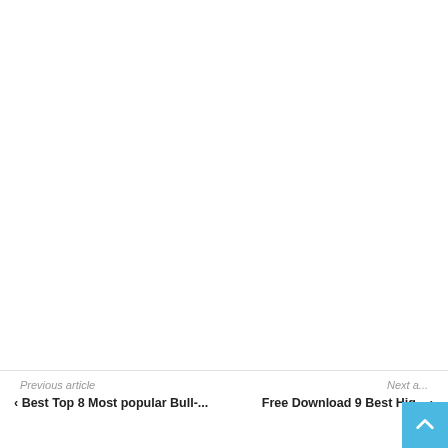Previous article   Next article   Best Top 8 Most popular Bull-...   Free Download 9 Best Hig...